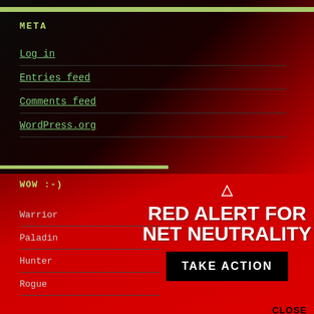META
Log in
Entries feed
Comments feed
WordPress.org
WOW :-)
Warrior
Paladin
Hunter
Rogue
[Figure (infographic): Red Alert for Net Neutrality popup overlay with warning triangle icon, bold white text 'RED ALERT FOR NET NEUTRALITY', a black 'TAKE ACTION' button, and a 'CLOSE' link at bottom right, on a red gradient background.]